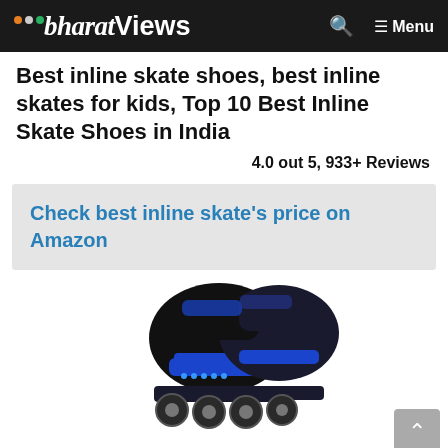bharatViews — Menu
Best inline skate shoes, best inline skates for kids, Top 10 Best Inline Skate Shoes in India
4.0 out 5, 933+ Reviews
Check best inline skate's price on Amazon
[Figure (photo): Blue and black inline skate shoes product photo]